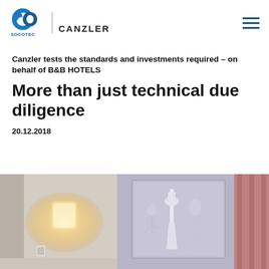SOCOTEC CANZLER
Canzler tests the standards and investments required – on behalf of B&B HOTELS
More than just technical due diligence
20.12.2018
[Figure (photo): Hotel interior: two photos side by side — left shows a wall lamp glowing warm light in a hotel room; right shows a hotel room with a painting depicting a dancer and a TV tower, with red curtains.]